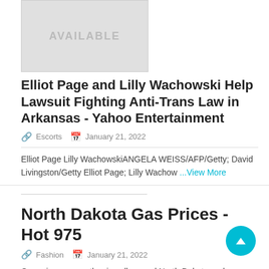[Figure (photo): Image placeholder with text AVAILABLE on grey background]
Elliot Page and Lilly Wachowski Help Lawsuit Fighting Anti-Trans Law in Arkansas - Yahoo Entertainment
Escorts   January 21, 2022
Elliot Page Lilly WachowskiANGELA WEISS/AFP/Getty; David Livingston/Getty Elliot Page; Lilly Wachow ...View More
North Dakota Gas Prices - Hot 975
Fashion   January 21, 2022
Gas prices are on the rise all around North Dakota and across the